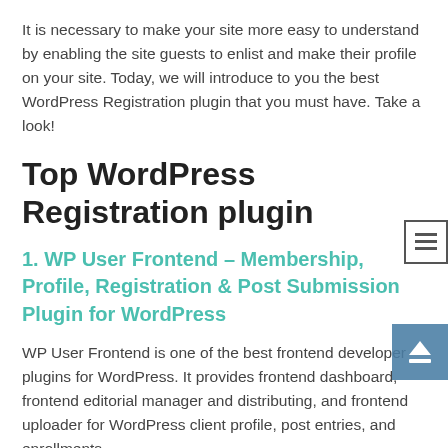It is necessary to make your site more easy to understand by enabling the site guests to enlist and make their profile on your site. Today, we will introduce to you the best WordPress Registration plugin that you must have. Take a look!
Top WordPress Registration plugin
1. WP User Frontend – Membership, Profile, Registration & Post Submission Plugin for WordPress
WP User Frontend is one of the best frontend developer plugins for WordPress. It provides frontend dashboard, frontend editorial manager and distributing, and frontend uploader for WordPress client profile, post entries, and enrollments.